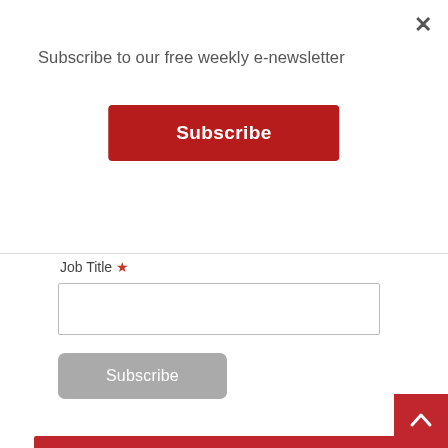×
Subscribe to our free weekly e-newsletter
Subscribe
Job Title *
Subscribe
Stay informed! Visit the SA Department of Health's website for COVID-19 updates: sacoronavirus.co.za